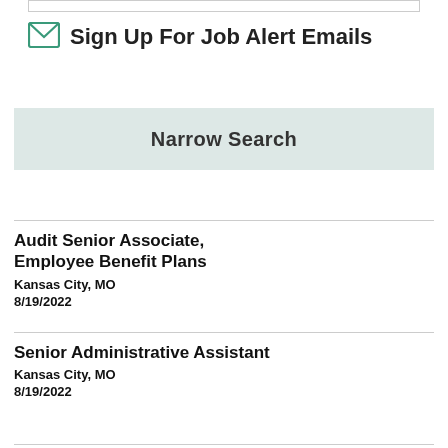[Figure (other): Top border bar element]
Sign Up For Job Alert Emails
Narrow Search
Audit Senior Associate, Employee Benefit Plans
Kansas City, MO
8/19/2022
Senior Administrative Assistant
Kansas City, MO
8/19/2022